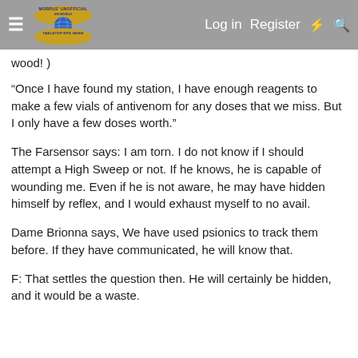Morrus' Unofficial Tabletop RPG News — Log in  Register
wood! )
“Once I have found my station, I have enough reagents to make a few vials of antivenom for any doses that we miss. But I only have a few doses worth.”
The Farsensor says: I am torn. I do not know if I should attempt a High Sweep or not. If he knows, he is capable of wounding me. Even if he is not aware, he may have hidden himself by reflex, and I would exhaust myself to no avail.
Dame Brionna says, We have used psionics to track them before. If they have communicated, he will know that.
F: That settles the question then. He will certainly be hidden, and it would be a waste.